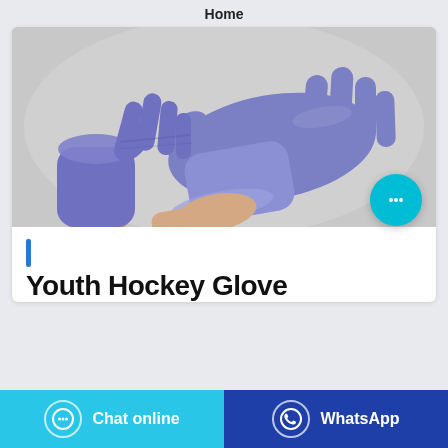Home
[Figure (photo): Two hands wearing blue/purple nitrile disposable gloves on a gray background, one hand pulling the glove onto the other wrist.]
Youth Hockey Glove
Chat online
WhatsApp